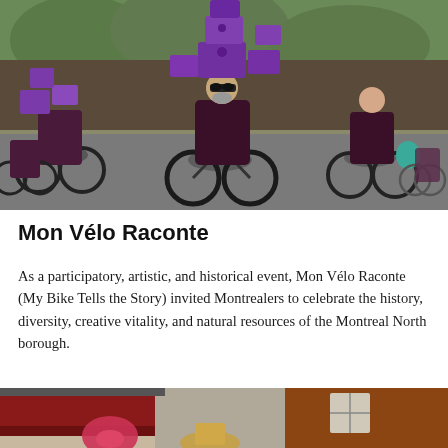[Figure (photo): Group of cyclists riding down a street, all wearing dark maroon/purple robes or cloaks, with large purple cubic/box-shaped structures mounted on their bicycles. The boxes are decorated and stacked. Trees and street visible in background.]
Mon Vélo Raconte
As a participatory, artistic, and historical event, Mon Vélo Raconte (My Bike Tells the Story) invited Montrealers to celebrate the history, diversity, creative vitality, and natural resources of the Montreal North borough.
[Figure (photo): Partial view of a street scene with a wooden building and a sign, with a person wearing a hat visible at the bottom.]